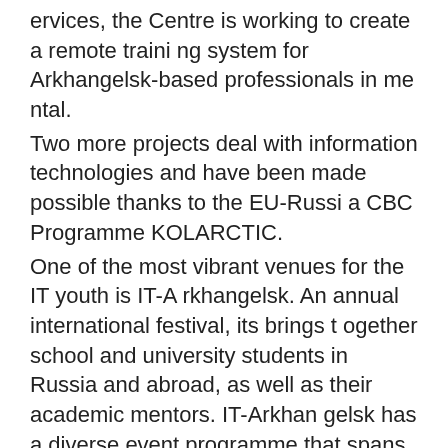ervices, the Centre is working to create a remote training system for Arkhangelsk-based professionals in mental.
Two more projects deal with information technologies and have been made possible thanks to the EU-Russia CBC Programme KOLARCTIC.
One of the most vibrant venues for the IT youth is IT-Arkhangelsk. An annual international festival, its brings together school and university students in Russia and abroad, as well as their academic mentors. IT-Arkhangelsk has a diverse event programme that spans innovation-driven technologies and talent contests to encourage youth to pursue careers in IT, offering new “digital heights” to be conquered each new year
International festivals and conferences
One more venue hosted by NArFU Higher School of Information Technologies and Automated Systems is the International Youth Research-to-Practice Conference...